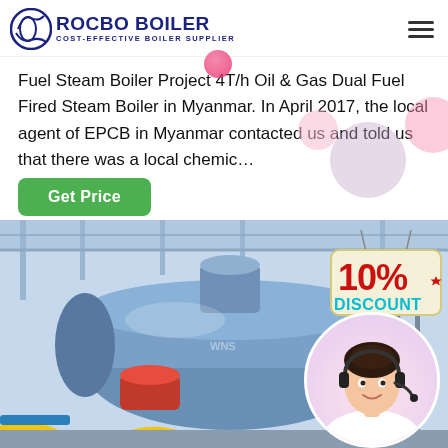ROCBO BOILER — COST-EFFECTIVE BOILER SUPPLIER
Fuel Steam Boiler Project 4T/h Oil & Gas Dual Fuel Fired Steam Boiler in Myanmar. In April 2017, the local agent of EPCB in Myanmar contacted us and told us that there was a local chemic…
Get Price
[Figure (photo): Industrial steam boiler in a factory setting with a 10% DISCOUNT tag overlay and a customer service agent in a circular frame at the bottom right.]